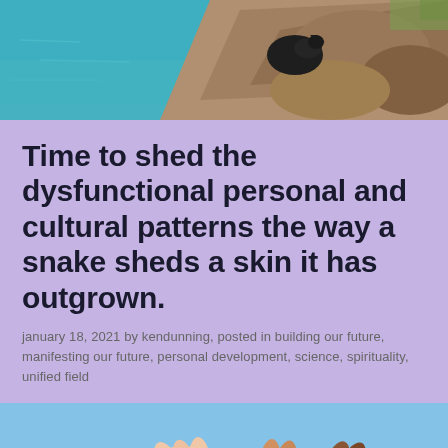[Figure (photo): Outdoor nature photo showing turquoise water, rocky terrain, and a dark animal (possibly a cat) on rocks near the water]
Time to shed the dysfunctional personal and cultural patterns the way a snake sheds a skin it has outgrown.
january 18, 2021 by kendunning, posted in building our future, manifesting our future, personal development, science, spirituality, unified field
[Figure (photo): Close-up photo of multiple hands of different skin tones joined together against a blue sky background]
Follow ...